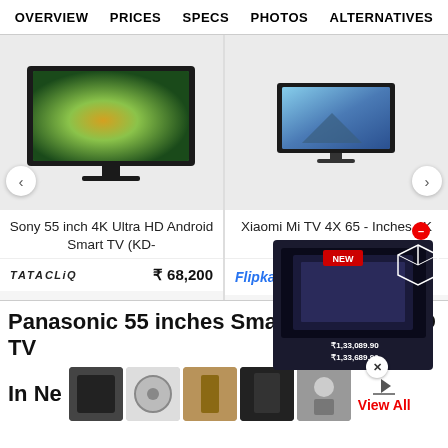OVERVIEW  PRICES  SPECS  PHOTOS  ALTERNATIVES
[Figure (photo): Sony 55 inch 4K Ultra HD Android Smart TV product image]
Sony 55 inch 4K Ultra HD Android Smart TV (KD-
TATA CLiQ  ₹ 68,200
[Figure (photo): Xiaomi Mi TV 4X 65-Inches 4K HDR Smart TV product image]
Xiaomi Mi TV 4X 65 - Inches 4K HDR Smart TV
Flipkart
Panasonic 55 inches Smart Full HD LED TV
In Ne
View All